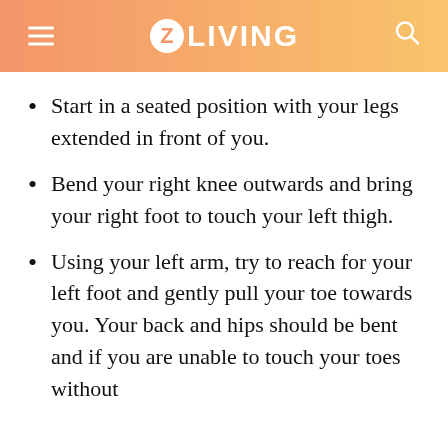Z LIVING
Start in a seated position with your legs extended in front of you.
Bend your right knee outwards and bring your right foot to touch your left thigh.
Using your left arm, try to reach for your left foot and gently pull your toe towards you. Your back and hips should be bent and if you are unable to touch your toes without